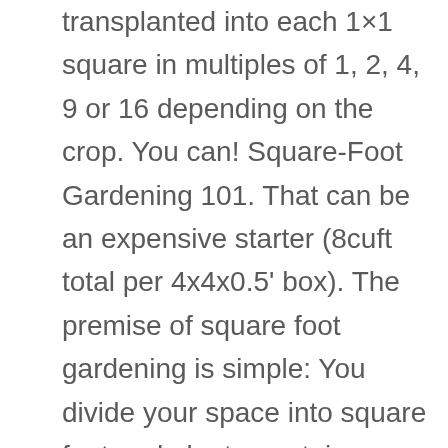transplanted into each 1×1 square in multiples of 1, 2, 4, 9 or 16 depending on the crop. You can! Square-Foot Gardening 101. That can be an expensive starter (8cuft total per 4x4x0.5' box). The premise of square foot gardening is simple: You divide your space into square feet and plant a certain amount of plants (depending on the size of the plant) within each square foot. Square foot gardening drastically reduces the amount of space required to grow crops compared to traditional row gardening. Many vegetables lend themselves well to container gardening. First, if you will be putting containers on a balcony, make sure you do not overload it. Here are 5 tips for a successful square foot